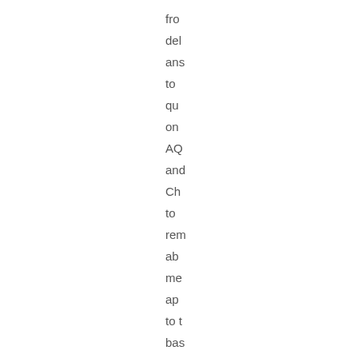fro
del
ans
to
qu
on
AC
and
Ch
to
rem
ab
me
ap
to t
bas
lite